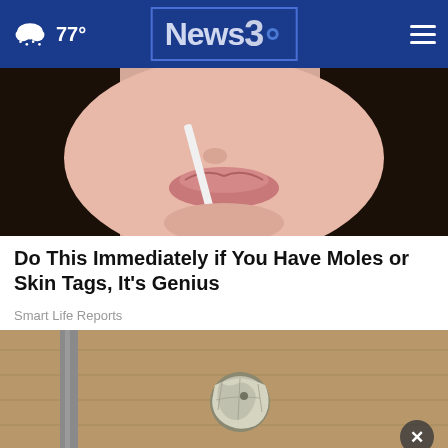77° News3 [navigation header with weather and logo]
[Figure (photo): Close-up of a woman's lower face and lips, holding what appears to be a thin white strip near her face, with dark hair visible]
Do This Immediately if You Have Moles or Skin Tags, It's Genius
Smart Life Reports
[Figure (photo): Close-up of a door knob wrapped in aluminum foil, on a brown wooden door]
[Figure (other): Advertisement banner: There's only One ONE CALL THAT'S ALL - Kenneth S. Nugent, PC - 1-800-CALL-KEN - Play Video button]